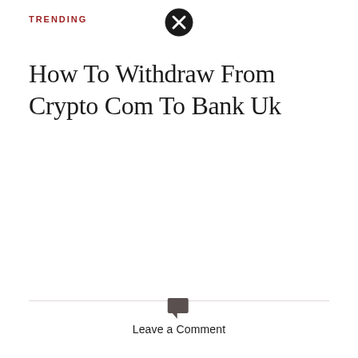TRENDING
How To Withdraw From Crypto Com To Bank Uk
Leave a Reply
Your email address will not be published.
Required fields are marked *
Leave a Comment